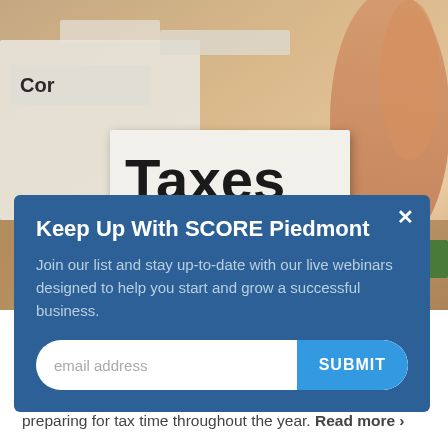[Figure (photo): Close-up photo of file folder tabs, with one labeled 'Taxes' in bold large text, and another partially visible labeled 'Corp...' — a hand is visible in the background holding documents.]
Keep Up With SCORE Piedmont
Join our list and stay up-to-date with our live webinars designed to help you start and grow a successful business.
email address
SUBMIT
April 29, 2020, Bridget Weston
Take control of your taxes by getting organized and preparing for tax time throughout the year. Read more >